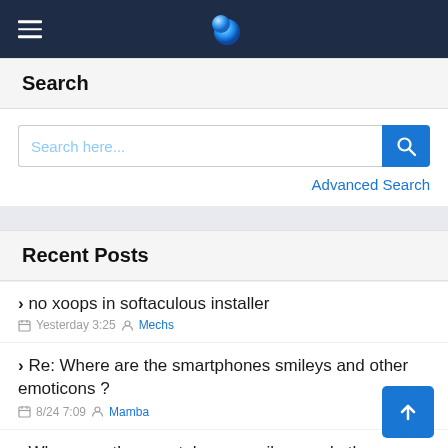Navigation bar with hamburger menu and logo
Search
[Figure (screenshot): Search input box with placeholder 'Search here...' and a blue search button with magnifying glass icon, followed by 'Advanced Search' link]
Recent Posts
no xoops in softaculous installer — Yesterday 3:25 Mechs
Re: Where are the smartphones smileys and other emoticons ? — 8/24 7:09 Mamba
Where are the smartphones smileys and other emoticons ? — 8/23 6:38 Golnath31